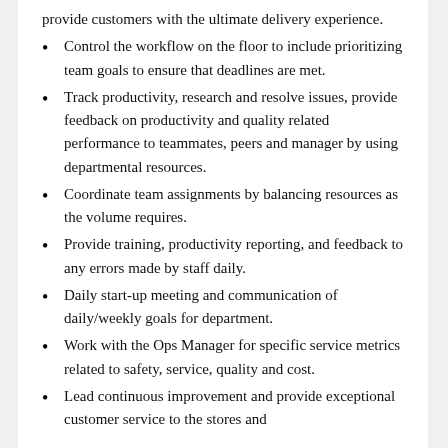provide customers with the ultimate delivery experience.
Control the workflow on the floor to include prioritizing team goals to ensure that deadlines are met.
Track productivity, research and resolve issues, provide feedback on productivity and quality related performance to teammates, peers and manager by using departmental resources.
Coordinate team assignments by balancing resources as the volume requires.
Provide training, productivity reporting, and feedback to any errors made by staff daily.
Daily start-up meeting and communication of daily/weekly goals for department.
Work with the Ops Manager for specific service metrics related to safety, service, quality and cost.
Lead continuous improvement and provide exceptional customer service to the stores and